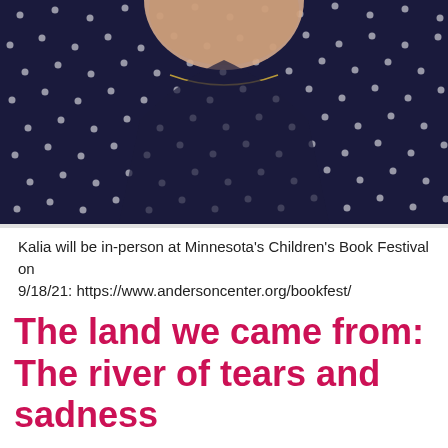[Figure (photo): Close-up photo of a person's neck and shoulders wearing a dark navy blue polka-dot top, with a thin gold necklace visible.]
Kalia will be in-person at Minnesota's Children's Book Festival on
9/18/21: https://www.andersoncenter.org/bookfest/
The land we came from: The river of tears and sadness